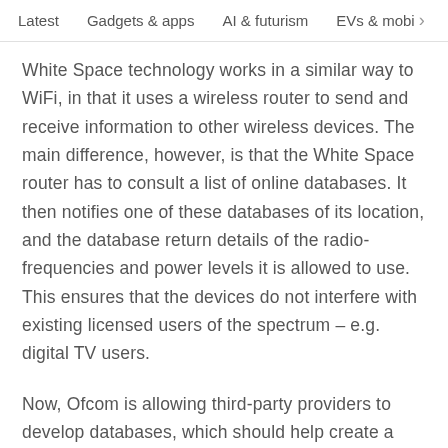Latest   Gadgets & apps   AI & futurism   EVs & mobi >
White Space technology works in a similar way to WiFi, in that it uses a wireless router to send and receive information to other wireless devices. The main difference, however, is that the White Space router has to consult a list of online databases. It then notifies one of these databases of its location, and the database return details of the radio-frequencies and power levels it is allowed to use. This ensures that the devices do not interfere with existing licensed users of the spectrum – e.g. digital TV users.
Now, Ofcom is allowing third-party providers to develop databases, which should help create a marketplace and incentivise operators to provide the best database service to consumers. Ofcom is